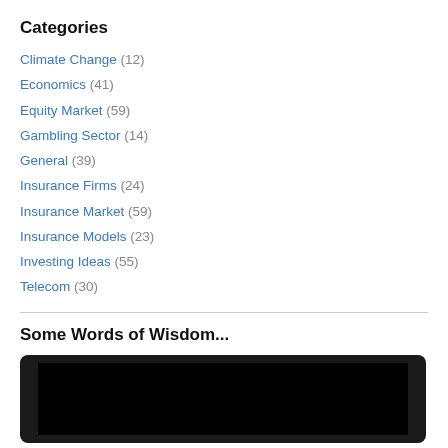Categories
Climate Change (12)
Economics (41)
Equity Market (59)
Gambling Sector (14)
General (39)
Insurance Firms (24)
Insurance Market (59)
Insurance Models (23)
Investing Ideas (55)
Telecom (30)
Some Words of Wisdom...
[Figure (photo): Dark/black image panel, appears to be a video or media embed placeholder with a dark background and inner black rectangle.]